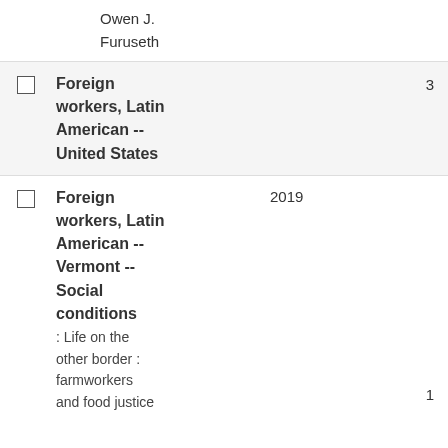Owen J.
Furuseth
Foreign workers, Latin American -- United States	3
Foreign workers, Latin American -- Vermont -- Social conditions	2019	1
: Life on the other border : farmworkers and food justice